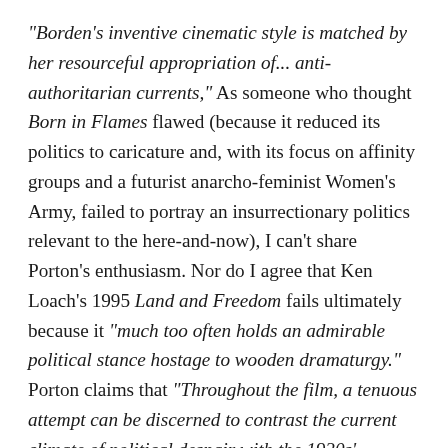"Borden's inventive cinematic style is matched by her resourceful appropriation of... anti-authoritarian currents," As someone who thought Born in Flames flawed (because it reduced its politics to caricature and, with its focus on affinity groups and a futurist anarcho-feminist Women's Army, failed to portray an insurrectionary politics relevant to the here-and-now), I can't share Porton's enthusiasm. Nor do I agree that Ken Loach's 1995 Land and Freedom fails ultimately because it "much too often holds an admirable political stance hostage to wooden dramaturgy." Porton claims that "Throughout the film, a tenuous attempt can be discerned to contrast the current climate of political despair with the 1930s' arduous, if more optimistic, ideological battles." But it is precisely this attempt to provide a context for an audience coming to the